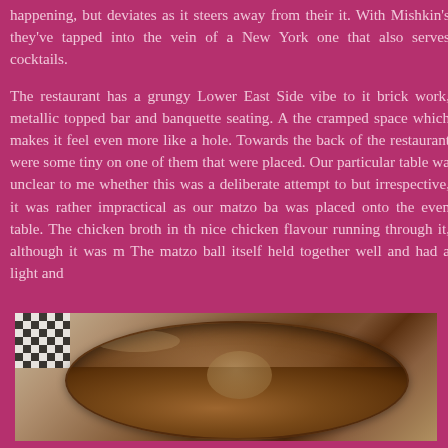happening, but deviates as it steers away from their it. With Mishkin's they've tapped into the vein of a New York one that also serves cocktails.
The restaurant has a grungy Lower East Side vibe to it brick work, metallic topped bar and banquette seating. A the cramped space which makes it feel even more like a hole. Towards the back of the restaurant were some tiny on one of them that were placed. Our particular table wa unclear to me whether this was a deliberate attempt to but irrespective, it was rather impractical as our matzo ba was placed onto the even table. The chicken broth in th nice chicken flavour running through it, although it was m The matzo ball itself held together well and had a light and
[Figure (photo): A close-up photograph of a bowl of matzo ball soup showing dark brown chicken broth with a matzo ball visible, with a black and white checkered surface visible in the top-left corner of the image.]